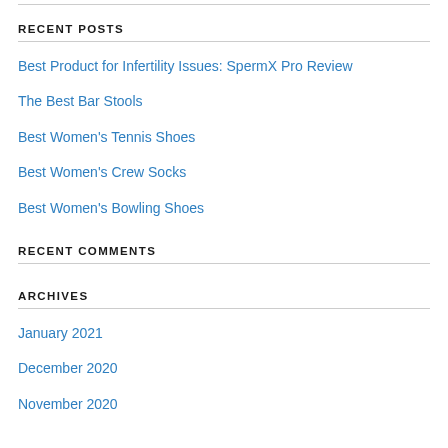RECENT POSTS
Best Product for Infertility Issues: SpermX Pro Review
The Best Bar Stools
Best Women's Tennis Shoes
Best Women's Crew Socks
Best Women's Bowling Shoes
RECENT COMMENTS
ARCHIVES
January 2021
December 2020
November 2020